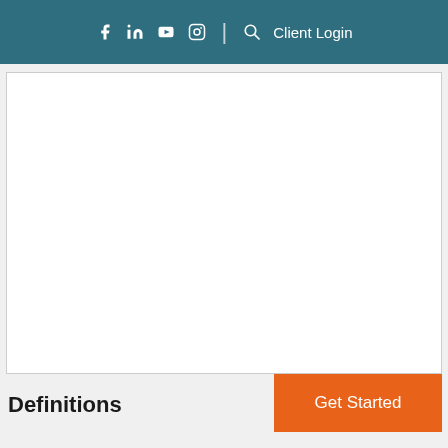f in ▶ 📷 | 🔍 Client Login
[Figure (screenshot): White content area/panel, empty]
Get Started
Definitions
Your age